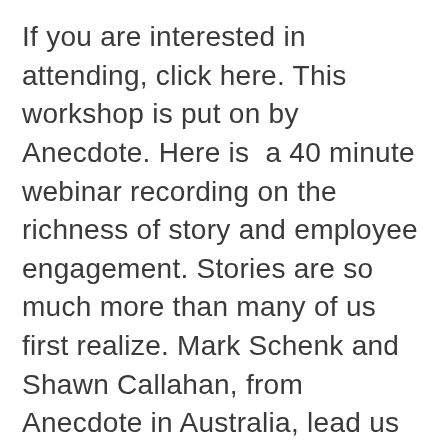If you are interested in attending, click here. This workshop is put on by Anecdote. Here is  a 40 minute webinar recording on the richness of story and employee engagement. Stories are so much more than many of us first realize. Mark Schenk and Shawn Callahan, from Anecdote in Australia, lead us through 40 minutes of how to understand and leverage story in more powerful ways to assess, enrich, and enliven employee engagement.